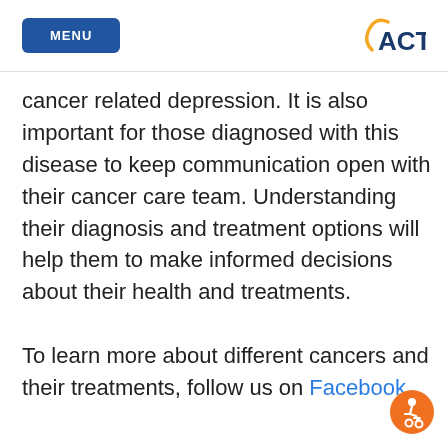MENU | ACTC
cancer related depression. It is also important for those diagnosed with this disease to keep communication open with their cancer care team. Understanding their diagnosis and treatment options will help them to make informed decisions about their health and treatments.

To learn more about different cancers and their treatments, follow us on Facebook
[Figure (logo): Accessibility icon button, orange circle with wheelchair user symbol]